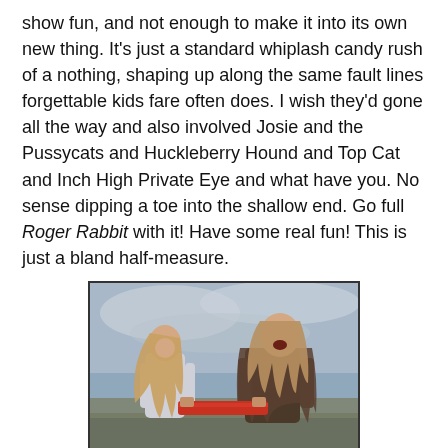show fun, and not enough to make it into its own new thing. It's just a standard whiplash candy rush of a nothing, shaping up along the same fault lines forgettable kids fare often does. I wish they'd gone all the way and also involved Josie and the Pussycats and Huckleberry Hound and Top Cat and Inch High Private Eye and what have you. No sense dipping a toe into the shallow end. Go full Roger Rabbit with it! Have some real fun! This is just a bland half-measure.
[Figure (photo): Two people facing each other outdoors with wind-blown hair, one in a silver/white coat and one in dark medieval-style armor, both gripping a red object between them. Overcast sky background.]
Over on Netflix is another familiar story: the underdog competition comedy. Here it's set in the world of Eurovision, that extraordinary international campy pop music battle that has never really caught on in America as more than a niche interest. Like mimes, certain cheeses, and good pandemic